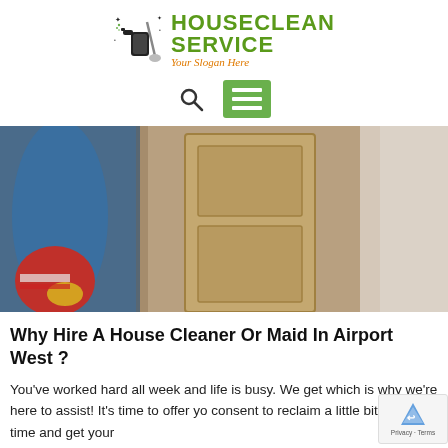[Figure (logo): HouseClean Service logo with cleaning spray bottle icon, green bold text 'HOUSECLEAN SERVICE', and orange italic slogan 'Your Slogan Here']
[Figure (other): Navigation bar with search icon and green hamburger menu button]
[Figure (photo): Photo of a house cleaner in blue uniform carrying cleaning supplies near a door]
Why Hire A House Cleaner Or Maid In Airport West ?
You've worked hard all week and life is busy. We get which is why we're here to assist! It's time to offer yo consent to reclaim a little bit of 'you' time and get your